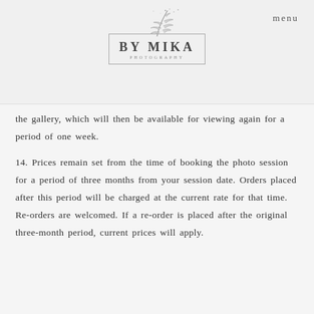[Figure (logo): By Mika Photography logo with botanical leaf illustration above a bordered rectangle containing 'BY MIKA' in bold and 'PHOTOGRAPHY' in small caps]
menu
the gallery, which will then be available for viewing again for a period of one week.
14. Prices remain set from the time of booking the photo session for a period of three months from your session date. Orders placed after this period will be charged at the current rate for that time. Re-orders are welcomed. If a re-order is placed after the original three-month period, current prices will apply.